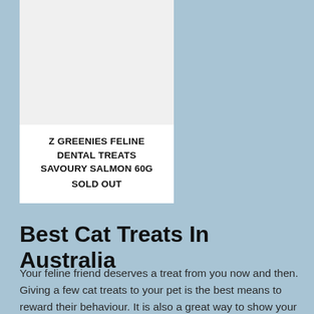[Figure (photo): Product card for Z Greenies Feline Dental Treats Savoury Salmon 60G with white background and light gray image area at top]
Z GREENIES FELINE DENTAL TREATS SAVOURY SALMON 60G
SOLD OUT
Best Cat Treats In Australia
Your feline friend deserves a treat from you now and then. Giving a few cat treats to your pet is the best means to reward their behaviour. It is also a great way to show your love and care for them. At Warragul Pet Emporium our team of experts, backed by years of experience and